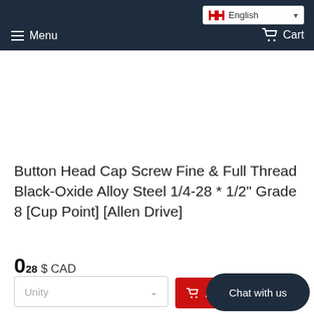Menu | English | Cart
Button Head Cap Screw Fine & Full Thread Black-Oxide Alloy Steel 1/4-28 * 1/2" Grade 8 [Cup Point] [Allen Drive]
0.28 $ CAD
Unity
Add to Cart
Chat with us